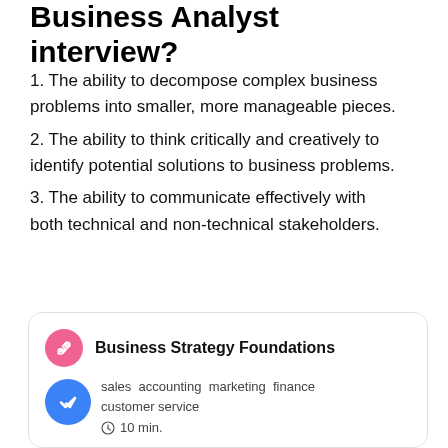Business Analyst  interview?
1. The ability to decompose complex business problems into smaller, more manageable pieces.
2. The ability to think critically and creatively to identify potential solutions to business problems.
3. The ability to communicate effectively with both technical and non-technical stakeholders.
[Figure (infographic): Card with pink circular icon (chain link), title 'Business Strategy Foundations', blue circular checkmark badge, tags: sales accounting marketing finance customer service, clock icon with '10 min.']